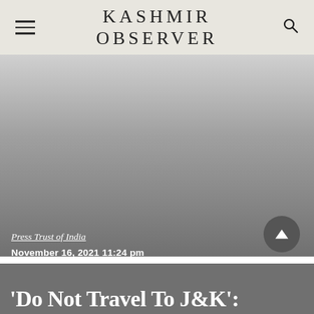KASHMIR OBSERVER
[Figure (photo): Gray gradient background image, likely a photograph of Kashmir that has been desaturated or is loading]
Press Trust of India
November 16, 2021 11:24 pm
'Do Not Travel To J&K':